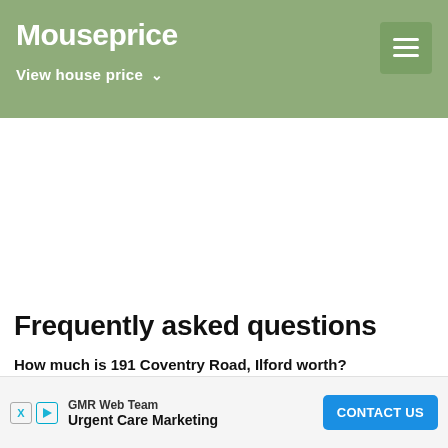Mouseprice — View house price
Frequently asked questions
How much is 191 Coventry Road, Ilford worth?
191 Cove... ing to our Mous...
GMR Web Team — Urgent Care Marketing — CONTACT US